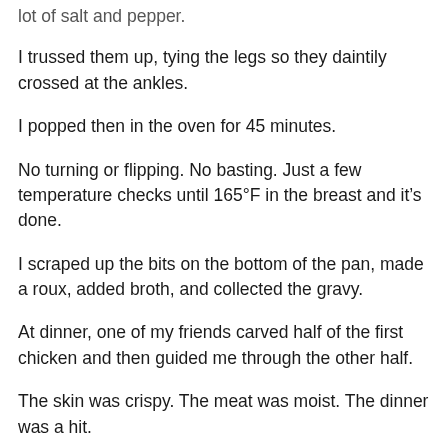lot of salt and pepper.
I trussed them up, tying the legs so they daintily crossed at the ankles.
I popped then in the oven for 45 minutes.
No turning or flipping. No basting. Just a few temperature checks until 165°F in the breast and it's done.
I scraped up the bits on the bottom of the pan, made a roux, added broth, and collected the gravy.
At dinner, one of my friends carved half of the first chicken and then guided me through the other half.
The skin was crispy. The meat was moist. The dinner was a hit.
The next day, I covered the leftover carcass with water